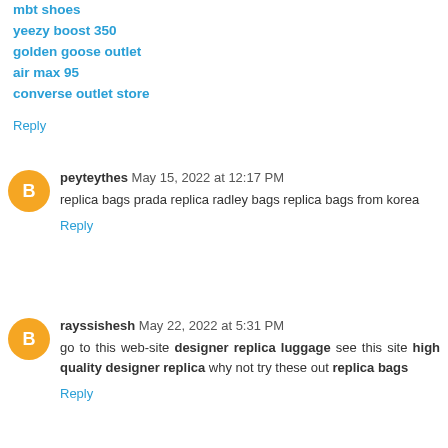mbt shoes
yeezy boost 350
golden goose outlet
air max 95
converse outlet store
Reply
peyteythes  May 15, 2022 at 12:17 PM
replica bags prada replica radley bags replica bags from korea
Reply
rayssishesh  May 22, 2022 at 5:31 PM
go to this web-site designer replica luggage see this site high quality designer replica why not try these out replica bags
Reply